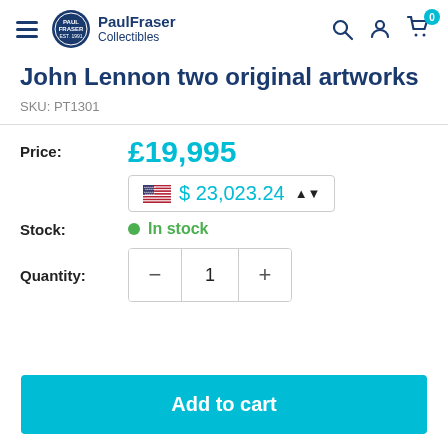PaulFraser Collectibles
John Lennon two original artworks
SKU: PT1301
Price: £19,995  $ 23,023.24
Stock: In stock
Quantity: 1
Add to cart